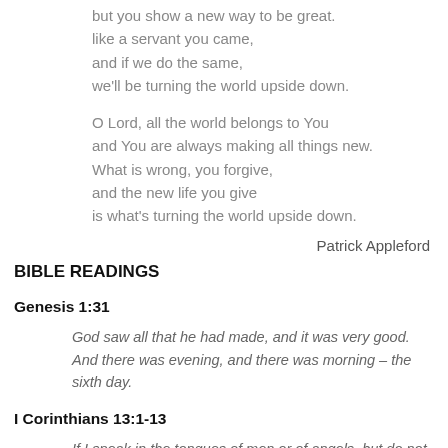but you show a new way to be great.
like a servant you came,
and if we do the same,
we'll be turning the world upside down.

O Lord, all the world belongs to You
and You are always making all things new.
What is wrong, you forgive,
and the new life you give
is what's turning the world upside down.
Patrick Appleford
BIBLE READINGS
Genesis 1:31
God saw all that he had made, and it was very good. And there was evening, and there was morning – the sixth day.
I Corinthians 13:1-13
If I speak in the tongues of men or of angels, but do not have love, I am only a resounding gong or a clanging